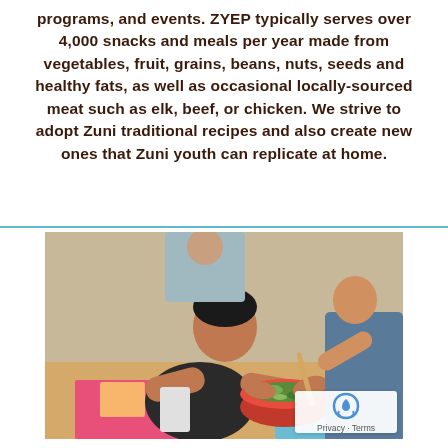programs, and events. ZYEP typically serves over 4,000 snacks and meals per year made from vegetables, fruit, grains, beans, nuts, seeds and healthy fats, as well as occasional locally-sourced meat such as elk, beef, or chicken. We strive to adopt Zuni traditional recipes and also create new ones that Zuni youth can replicate at home.
[Figure (photo): Children working together around a table, one child reaching into a red bowl filled with chopped vegetables and food items during what appears to be a cooking or food preparation activity.]